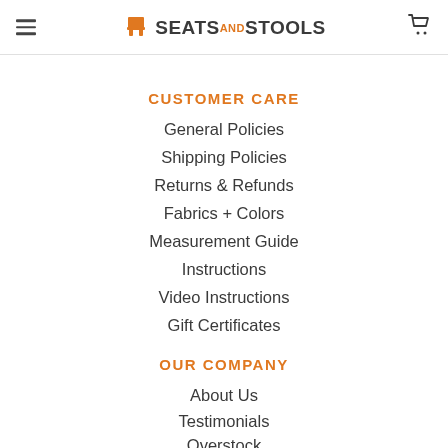SEATS AND STOOLS
CUSTOMER CARE
General Policies
Shipping Policies
Returns & Refunds
Fabrics + Colors
Measurement Guide
Instructions
Video Instructions
Gift Certificates
OUR COMPANY
About Us
Testimonials
Overstock